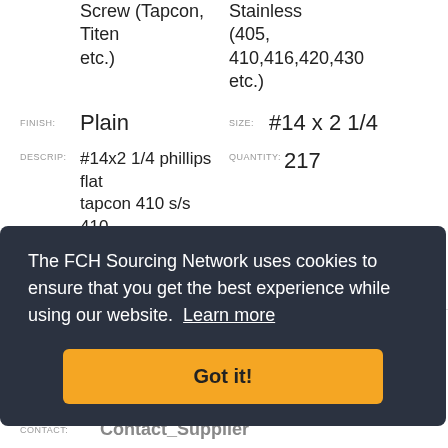| Field | Value | Field2 | Value2 |
| --- | --- | --- | --- |
|  | Screw (Tapcon, Titen etc.) |  | Stainless (405, 410,416,420,430 etc.) |
| FINISH: | Plain | SIZE: | #14 x 2 1/4 |
| DESCRIP: | #14x2 1/4 phillips flat tapcon 410 s/s 410 stainless | QUANTITY: | 217 |
| CONTACT: | Contact_Supplier |  |  |
The FCH Sourcing Network uses cookies to ensure that you get the best experience while using our website. Learn more
Got it!
CONTACT: Contact_Supplier